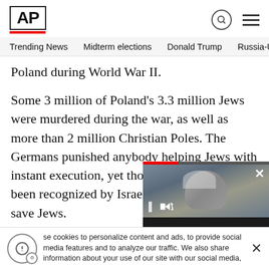AP
Trending News   Midterm elections   Donald Trump   Russia-Ukr
Poland during World War II.
Some 3 million of Poland’s 3.3 million Jews were murdered during the war, as well as more than 2 million Christian Poles. The Germans punished anybody helping Jews with instant execution, yet thousands of Poles have been recognized by Israel for taking the risk to save Jews.
[Figure (screenshot): Video overlay showing a man (Pence) with pause and mute controls, caption 'Pence says he did']
In 2018, the right-wing government... crime to falsely blame the Polish n...
se cookies to personalize content and ads, to provide social features and to analyze our traffic. We also share information about your use of our site with our social media,